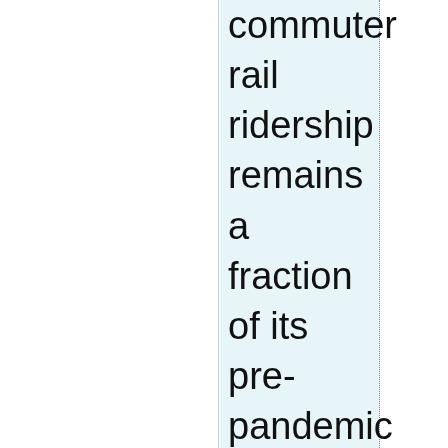commuter rail ridership remains a fraction of its pre-pandemic levels. Work and commuting patterns have changed, leaving public transit systems